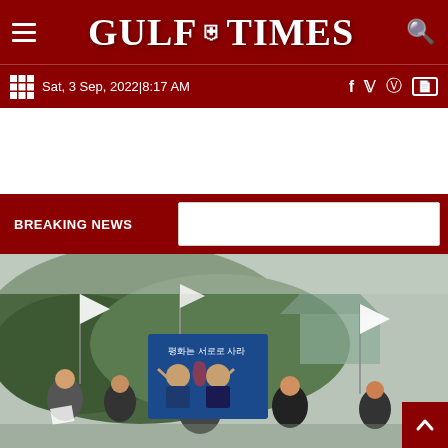GULF TIMES
Sat, 3 Sep, 2022|8:17 AM
BREAKING NEWS
[Figure (photo): People holding signs and white flags outdoors with a mountain in the background. One person in the center holds a large blue poster showing two figures (likely Korean leaders) waving, with Korean text on it.]